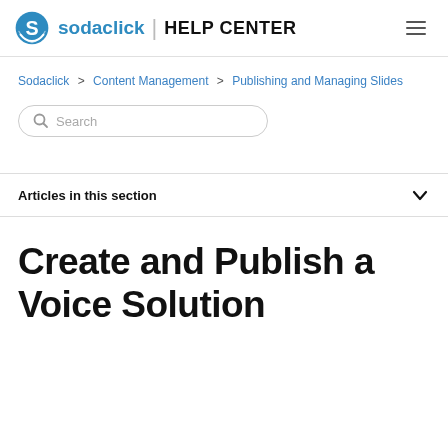sodaclick | HELP CENTER
Sodaclick > Content Management > Publishing and Managing Slides
Search
Articles in this section
Create and Publish a Voice Solution